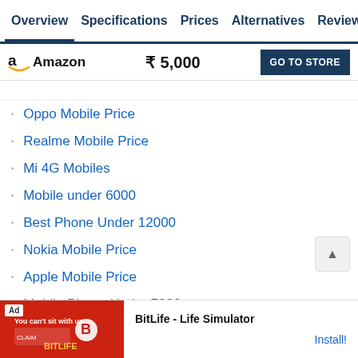Overview  Specifications  Prices  Alternatives  Reviews
| Store | Price | Action |
| --- | --- | --- |
| Amazon | ₹ 5,000 | GO TO STORE |
Oppo Mobile Price
Realme Mobile Price
Mi 4G Mobiles
Mobile under 6000
Best Phone Under 12000
Nokia Mobile Price
Apple Mobile Price
Mobile Phone Under 7000
Best Phone Under 9000
Best Phone Under 8000
[Figure (screenshot): Ad banner: BitLife - Life Simulator app advertisement with red background and Install button]